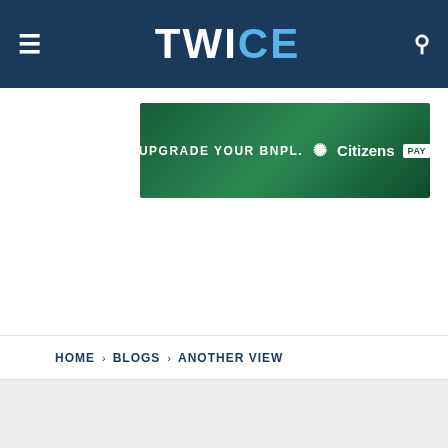TWICE
[Figure (other): Advertisement banner: UPGRADE YOUR BNPL. Citizens PAY on green background]
HOME › BLOGS › ANOTHER VIEW